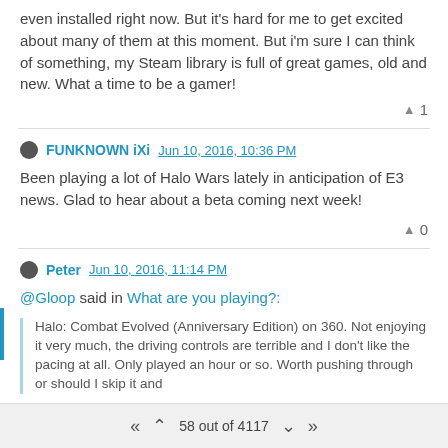even installed right now. But it's hard for me to get excited about many of them at this moment. But i'm sure I can think of something, my Steam library is full of great games, old and new. What a time to be a gamer!
▲ 1
FUNKNOWN iXi  Jun 10, 2016, 10:36 PM
Been playing a lot of Halo Wars lately in anticipation of E3 news. Glad to hear about a beta coming next week!
▲ 0
Peter  Jun 10, 2016, 11:14 PM
@Gloop said in What are you playing?:
Halo: Combat Evolved (Anniversary Edition) on 360. Not enjoying it very much, the driving controls are terrible and I don't like the pacing at all. Only played an hour or so. Worth pushing through or should I skip it and
58 out of 4117